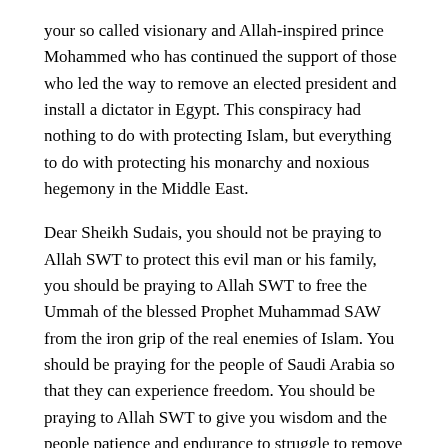your so called visionary and Allah-inspired prince Mohammed who has continued the support of those who led the way to remove an elected president and install a dictator in Egypt. This conspiracy had nothing to do with protecting Islam, but everything to do with protecting his monarchy and noxious hegemony in the Middle East.
Dear Sheikh Sudais, you should not be praying to Allah SWT to protect this evil man or his family, you should be praying to Allah SWT to free the Ummah of the blessed Prophet Muhammad SAW from the iron grip of the real enemies of Islam. You should be praying for the people of Saudi Arabia so that they can experience freedom. You should be praying to Allah SWT to give you wisdom and the people patience and endurance to struggle to remove the despots from power and influence.
You called him the faithful crown prince, the protector and guardian of the holy sites of Islam. You reminded us